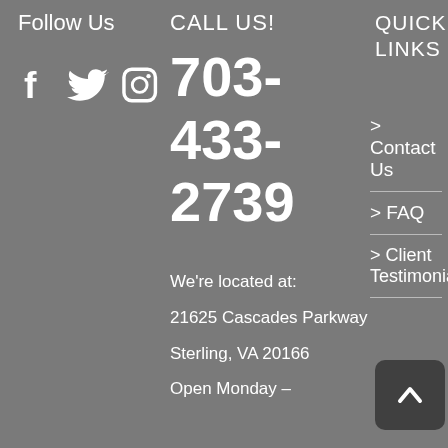Follow Us
[Figure (illustration): Social media icons: Facebook, Twitter, Instagram]
CALL US!
703-433-2739
We're located at:
21625 Cascades Parkway
Sterling, VA 20166
Open Monday –
QUICK LINKS
> Contact Us
> FAQ
> Client Testimonials